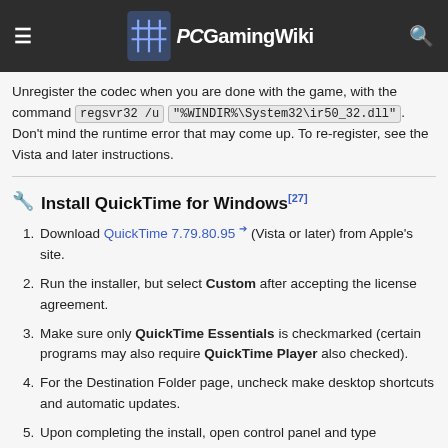PCGamingWiki
Unregister the codec when you are done with the game, with the command regsvr32 /u "%WINDIR%\System32\ir50_32.dll". Don't mind the runtime error that may come up. To re-register, see the Vista and later instructions.
Install QuickTime for Windows[27]
Download QuickTime 7.79.80.95 (Vista or later) from Apple's site.
Run the installer, but select Custom after accepting the license agreement.
Make sure only QuickTime Essentials is checkmarked (certain programs may also require QuickTime Player also checked).
For the Destination Folder page, uncheck make desktop shortcuts and automatic updates.
Upon completing the install, open control panel and type "quicktime" in the search box to get QuickTime settings. To make this easier to access you could right-click, Create